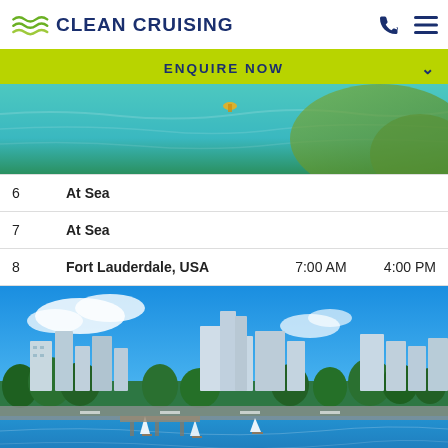Clean Cruising
ENQUIRE NOW
[Figure (photo): Aerial view of turquoise ocean water with a small yellow buoy visible]
| Day | Port | Arrival | Departure |
| --- | --- | --- | --- |
| 6 | At Sea |  |  |
| 7 | At Sea |  |  |
| 8 | Fort Lauderdale, USA | 7:00 AM | 4:00 PM |
[Figure (photo): Aerial cityscape of Fort Lauderdale, USA showing waterways, marina with sailboats, palm trees, and modern buildings under a bright blue sky]